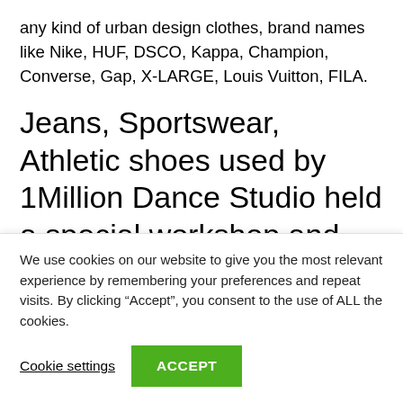any kind of urban design clothes, brand names like Nike, HUF, DSCO, Kappa, Champion, Converse, Gap, X-LARGE, Louis Vuitton, FILA.
Jeans, Sportswear, Athletic shoes used by 1Million Dance Studio held a special workshop and meet & greet at KCON 2017, in New York. The six choreographers, Sori Na, Koosung Jung, Yoojung Lee, Lia Kim, May J Lee, and
We use cookies on our website to give you the most relevant experience by remembering your preferences and repeat visits. By clicking “Accept”, you consent to the use of ALL the cookies.
Cookie settings
ACCEPT